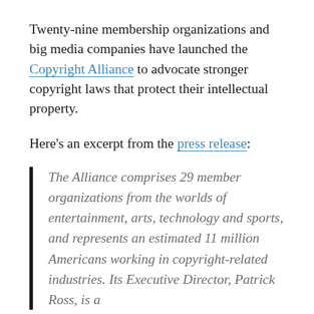Twenty-nine membership organizations and big media companies have launched the Copyright Alliance to advocate stronger copyright laws that protect their intellectual property.
Here's an excerpt from the press release:
The Alliance comprises 29 member organizations from the worlds of entertainment, arts, technology and sports, and represents an estimated 11 million Americans working in copyright-related industries. Its Executive Director, Patrick Ross, is a former senior media and think tank executive...